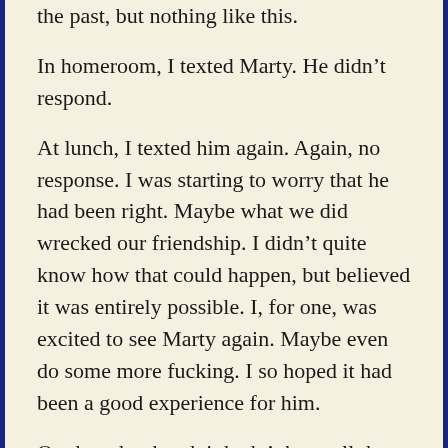the past, but nothing like this.
In homeroom, I texted Marty. He didn’t respond.
At lunch, I texted him again. Again, no response. I was starting to worry that he had been right. Maybe what we did wrecked our friendship. I didn’t quite know how that could happen, but believed it was entirely possible. I, for one, was excited to see Marty again. Maybe even do some more fucking. I so hoped it had been a good experience for him.
On the other hand, it hadn’t been all that great an experience for me. Or had it? True, I didn’t have an orgasm, and one is supposed to when having sex, right? It was over all too soon, and we were